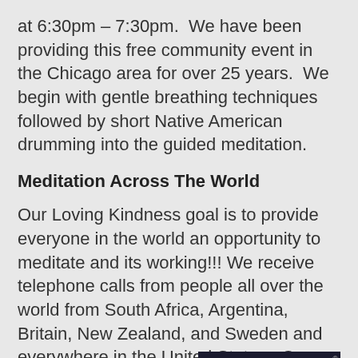at 6:30pm – 7:30pm.  We have been providing this free community event in the Chicago area for over 25 years.  We begin with gentle breathing techniques followed by short Native American drumming into the guided meditation.
Meditation Across The World
Our Loving Kindness goal is to provide everyone in the world an opportunity to meditate and its working!!! We receive telephone calls from people all over the world from South Africa, Argentina, Britain, New Zealand, and Sweden and everywhere in the United States.  Our growing project is truly helpin
[Figure (logo): GoDaddy Verified & Secured badge with lock icon and blue text]